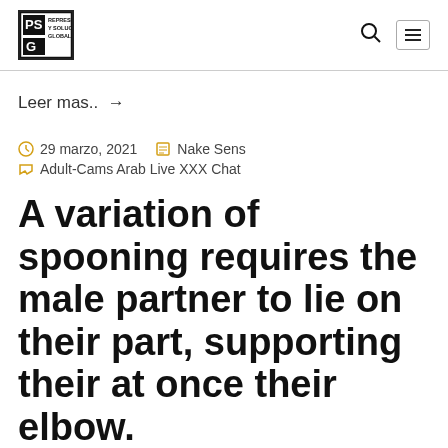RSG REPRESENTACIONES Y SOLUCIONES GLOBALES S.R.L
Leer mas.. →
29 marzo, 2021   Nake Sens   Adult-Cams Arab Live XXX Chat
A variation of spooning requires the male partner to lie on their part, supporting their at once their elbow.